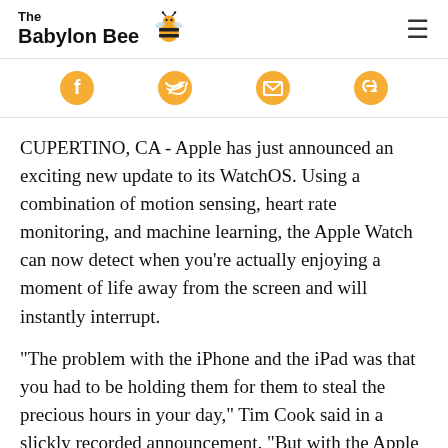The Babylon Bee
[Figure (logo): The Babylon Bee logo with bee icon and hamburger menu]
[Figure (infographic): Social share icons: Facebook, Twitter, Email, Link]
CUPERTINO, CA - Apple has just announced an exciting new update to its WatchOS. Using a combination of motion sensing, heart rate monitoring, and machine learning, the Apple Watch can now detect when you're actually enjoying a moment of life away from the screen and will instantly interrupt.
"The problem with the iPhone and the iPad was that you had to be holding them for them to steal the precious hours in your day," Tim Cook said in a slickly recorded announcement. "But with the Apple Watch always-on technology, we can now